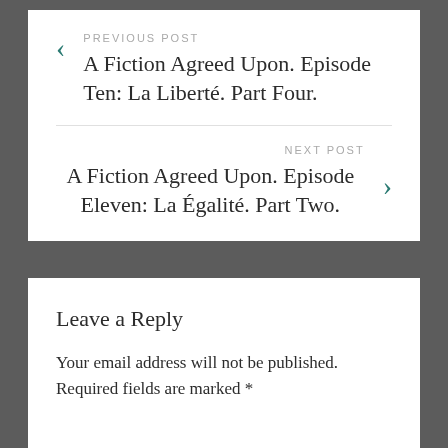PREVIOUS POST
A Fiction Agreed Upon. Episode Ten: La Liberté. Part Four.
NEXT POST
A Fiction Agreed Upon. Episode Eleven: La Égalité. Part Two.
Leave a Reply
Your email address will not be published. Required fields are marked *